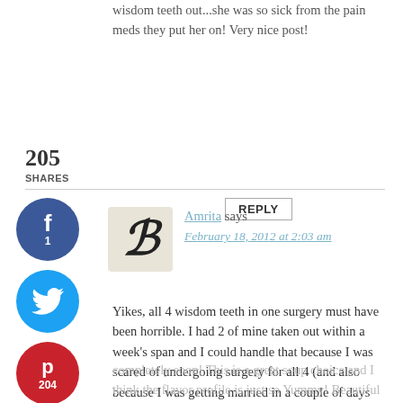wisdom teeth out...she was so sick from the pain meds they put her on! Very nice post!
REPLY
205 SHARES
[Figure (infographic): Social share buttons: Facebook (1 share), Twitter, Pinterest (204 shares), Yum]
[Figure (illustration): Blog logo with cursive letter B on light background]
Amrita says
February 18, 2012 at 2:03 am
Yikes, all 4 wisdom teeth in one surgery must have been horrible. I had 2 of mine taken out within a week's span and I could handle that because I was scared of undergoing surgery for all 4 (and also because I was getting married in a couple of days :D) I can imagine how crabby your son would've been! Hope he's feeling much better now and recovers
completely soon! This is a great soup choice and I think the flavor profile is just so Yummy! Beautiful